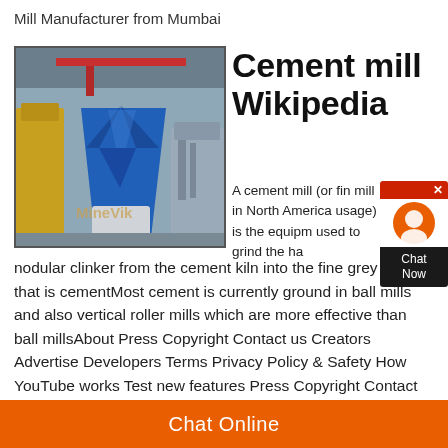Mill Manufacturer from Mumbai
[Figure (photo): Industrial cement mill / ball mill machinery in a factory, with a large blue cone-shaped rotor and MineVik watermark]
Cement mill Wikipedia
A cement mill (or fin mill in North America usage) is the equipm used to grind the ha nodular clinker from the cement kiln into the fine grey powder that is cementMost cement is currently ground in ball mills and also vertical roller mills which are more effective than ball millsAbout Press Copyright Contact us Creators Advertise Developers Terms Privacy Policy & Safety How YouTube works Test new features Press Copyright Contact us CreatorsCement mill, cement ball millMs Cement Mill Liner, Surface Coating: Hot Rolled,
Chat Online